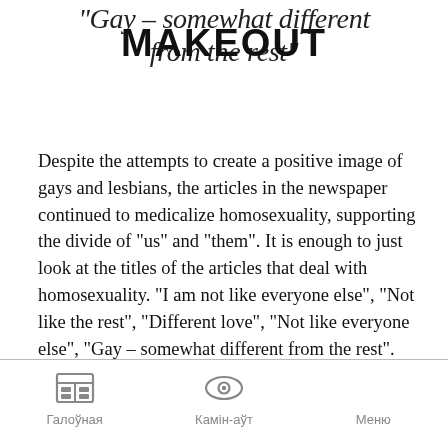“Gay – somewhat different from the rest”
[Figure (other): Bold all-caps watermark/overlay text reading MAKEOUT stamped across the title area]
Despite the attempts to create a positive image of gays and lesbians, the articles in the newspaper continued to medicalize homosexuality, supporting the divide of “us” and “them”. It is enough to just look at the titles of the articles that deal with homosexuality. “I am not like everyone else”, “Not like the rest”, “Different love”, “Not like everyone else”, “Gay – somewhat different from the rest”.
Галоўная   Камін-аўт   Меню